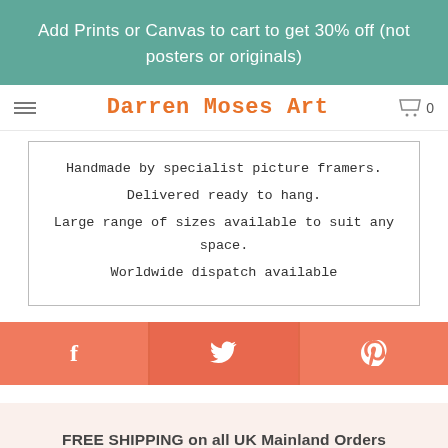Add Prints or Canvas to cart to get 30% off (not posters or originals)
Darren Moses Art
Handmade by specialist picture framers.
Delivered ready to hang.
Large range of sizes available to suit any space.
Worldwide dispatch available
[Figure (infographic): Social media share buttons: Facebook (f), Twitter (bird icon), Pinterest (P) on coral/salmon colored bar]
FREE SHIPPING on all UK Mainland Orders